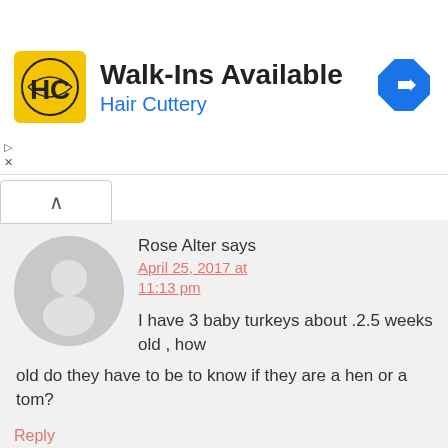[Figure (logo): Hair Cuttery advertisement banner with HC logo, 'Walk-Ins Available' text, and a blue diamond navigation arrow icon]
Rose Alter says
April 25, 2017 at 11:13 pm
I have 3 baby turkeys about .2.5 weeks old , how old do they have to be to know if they are a hen or a tom?
Reply